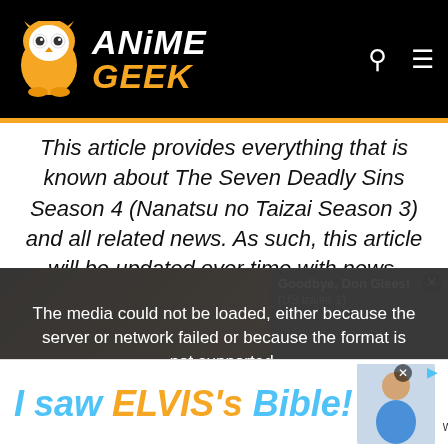[Figure (logo): Anime Geek website logo with orange owl mascot and stylized text 'ANiME GEEK']
This article provides everything that is known about The Seven Deadly Sins Season 4 (Nanatsu no Taizai Season 3) and all related news. As such, this article will be updated over time with news, rumors, and analysis. Meanwhile, let's delve down into
[Figure (screenshot): Video player showing error message: 'The media could not be loaded, either because the server or network failed or because the format is not supported.' with overlay showing 'Goodbye, Don Glees! (US trailer 1)' and anime still image in background]
[Figure (screenshot): Advertisement banner: 'I saw ELVIS's Bible!' with child photo and Museum of the Bible logo — 'What's in it will surprise you.']